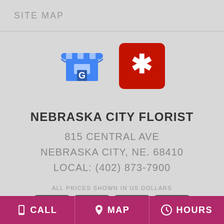SITE MAP
[Figure (logo): Google My Business icon (blue store icon with G) and Yelp icon (red square with white asterisk/star)]
NEBRASKA CITY FLORIST
815 CENTRAL AVE
NEBRASKA CITY, NE. 68410
LOCAL: (402) 873-7900
ALL PRICES SHOWN IN US DOLLARS
[Figure (logo): American Express, Mastercard, Visa, Discover payment card logos]
CALL   MAP   HOURS